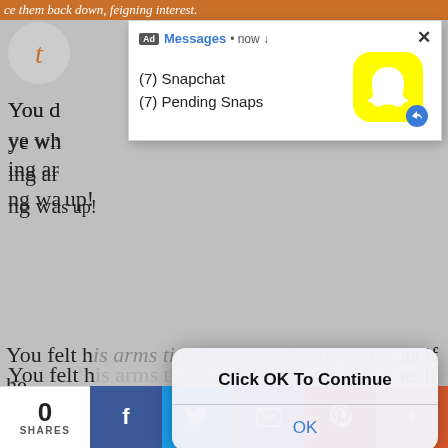ce them back down, feigning interest.
You felt his arms tighten around your waist, as if he was ready to pull you away from him at any moment, for your sake, not his.
"I don't know man, the guy right here."
[Figure (screenshot): Snapchat ad notification popup showing (7) Snapchat and (7) Pending Snaps with Snapchat ghost logo icon]
[Figure (screenshot): iOS-style alert dialog with 'Click OK To Continue' message and OK button]
Cal passed, a slight smirk on his face as his eyes connected with yours. Your poker face was nowhere as advanced as Fez's, and you only prayed that between Lexi and yourself, neither of you gave anything aw
0 SHARES